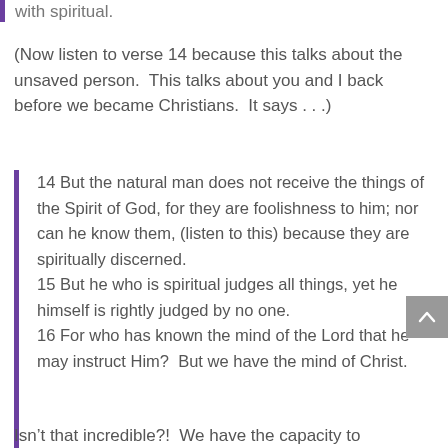with spiritual.
(Now listen to verse 14 because this talks about the unsaved person.  This talks about you and I back before we became Christians.  It says . . .)
14 But the natural man does not receive the things of the Spirit of God, for they are foolishness to him; nor can he know them, (listen to this) because they are spiritually discerned.
15 But he who is spiritual judges all things, yet he himself is rightly judged by no one.
16 For who has known the mind of the Lord that he may instruct Him?  But we have the mind of Christ.
Isn’t that incredible?!  We have the capacity to